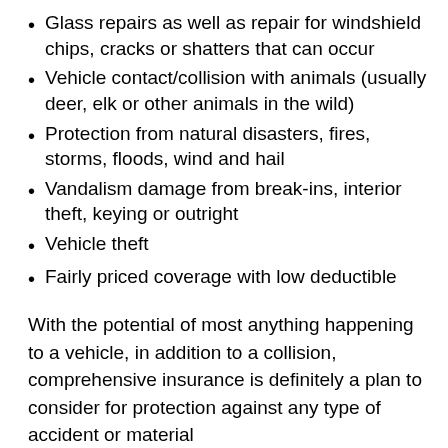Glass repairs as well as repair for windshield chips, cracks or shatters that can occur
Vehicle contact/collision with animals (usually deer, elk or other animals in the wild)
Protection from natural disasters, fires, storms, floods, wind and hail
Vandalism damage from break-ins, interior theft, keying or outright
Vehicle theft
Fairly priced coverage with low deductible
With the potential of most anything happening to a vehicle, in addition to a collision, comprehensive insurance is definitely a plan to consider for protection against any type of accident or material